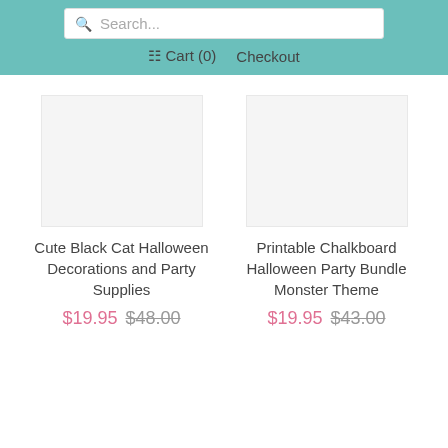Search... Cart (0) Checkout
Cute Black Cat Halloween Decorations and Party Supplies $19.95 $48.00
Printable Chalkboard Halloween Party Bundle Monster Theme $19.95 $43.00